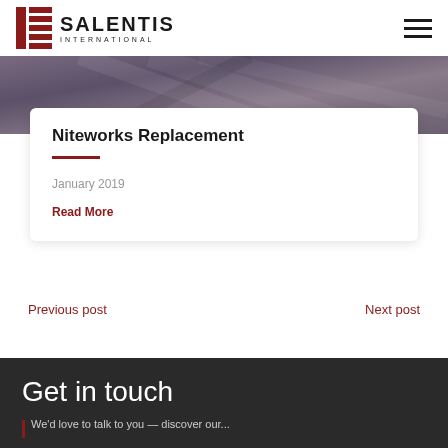SALENTIS INTERNATIONAL
[Figure (photo): Grayscale/purple-tinted hero image showing overlapping hands or abstract shapes]
Niteworks Replacement
January 2019
Read More
Previous post
Next post
Get in touch
We'd love to talk to you — discover our...